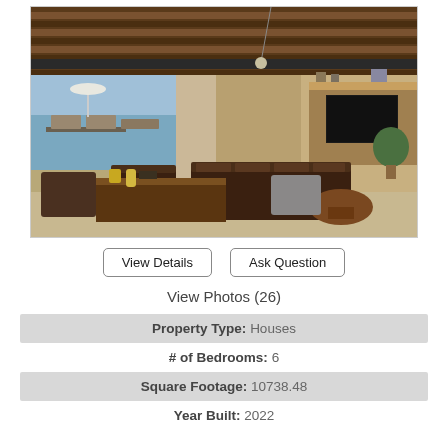[Figure (photo): Interior photo of a luxury open-plan living room with high wooden-beam ceiling, large flat-screen TV on the wall, dark leather sofas, wooden coffee tables, and an open side view to a terrace and ocean beyond.]
View Details   Ask Question
View Photos (26)
| Property Type: | Houses |
| # of Bedrooms: | 6 |
| Square Footage: | 10738.48 |
| Year Built: | 2022 |